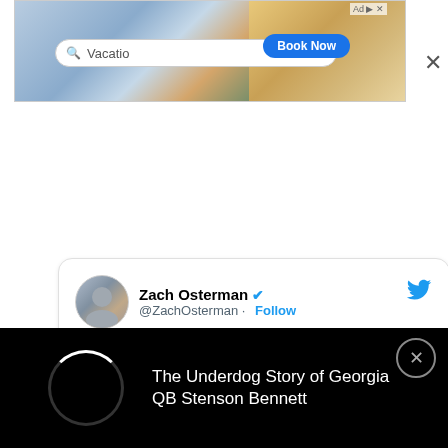[Figure (screenshot): Advertisement banner showing a travel booking site with a search bar labeled 'Vacatio' and a 'Book Now' button, with a close X button in the corner]
[Figure (screenshot): Twitter/X card showing Zach Osterman (@ZachOsterman) with verified badge and Follow button, with a Twitter bird logo, and partial text 'Replying to @ZachOsterman']
The Underdog Story of Georgia QB Stenson Bennett